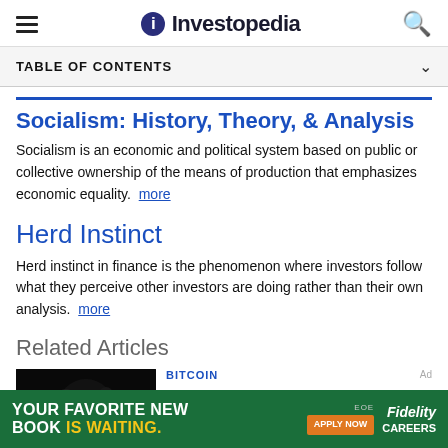Investopedia
TABLE OF CONTENTS
Socialism: History, Theory, & Analysis
Socialism is an economic and political system based on public or collective ownership of the means of production that emphasizes economic equality. more
Herd Instinct
Herd instinct in finance is the phenomenon where investors follow what they perceive other investors are doing rather than their own analysis. more
Related Articles
BITCOIN
[Figure (photo): Dark background photo related to Bitcoin article]
YOUR FAVORITE NEW BOOK IS WAITING. APPLY NOW Fidelity CAREERS